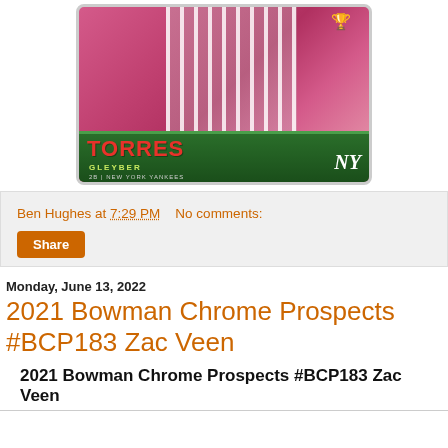[Figure (photo): Baseball trading card for Gleyber Torres, 2B for the New York Yankees, with pink/red holiday-themed background and green bottom strip]
Ben Hughes at 7:29 PM   No comments:
Share
Monday, June 13, 2022
2021 Bowman Chrome Prospects #BCP183 Zac Veen
2021 Bowman Chrome Prospects #BCP183 Zac Veen